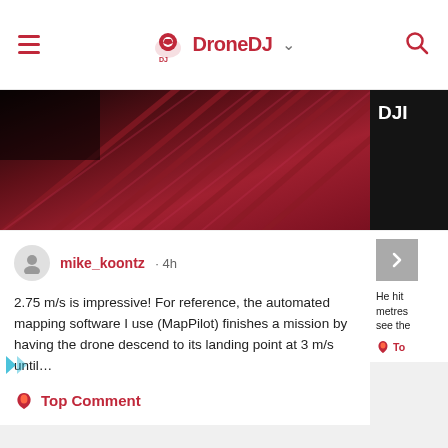DroneDJ
[Figure (photo): Aerial drone photo of a red/dark rooftop structure with diagonal lines, partially visible. A DJI card is partially visible at right.]
mike_koontz · 4h
2.75 m/s is impressive! For reference, the automated mapping software I use (MapPilot) finishes a mission by having the drone descend to its landing point at 3 m/s until…
Top Comment
He hit metres see the
To